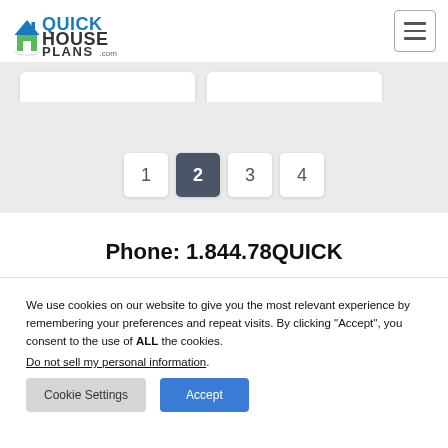[Figure (logo): QuickHousePlans.com logo with house icon]
[Figure (other): Hamburger menu icon (three horizontal lines in a bordered box)]
[Figure (other): Two partial card stubs visible at top]
1  2  3  4 (pagination buttons, 2 is active)
Phone: 1.844.78QUICK
We use cookies on our website to give you the most relevant experience by remembering your preferences and repeat visits. By clicking “Accept”, you consent to the use of ALL the cookies.
Do not sell my personal information.
Cookie Settings
Accept